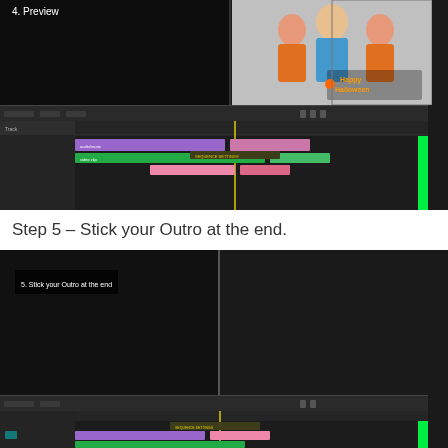[Figure (screenshot): Video editing software screenshot showing step 4 Preview, with a dark preview pane on the left showing nothing, a pane on the right showing a family in Halloween costumes, and a timeline at the bottom with colored clips including purple, pink, and green tracks.]
Step 5 – Stick your Outro at the end.
[Figure (screenshot): Video editing software screenshot showing step 5 Stick your Outro at the end, with a dark left pane displaying the label text, an Ozgo Productions outro screen on the right with logo and URL www.ozgo.co.uk, and a timeline at the bottom with colored clips.]